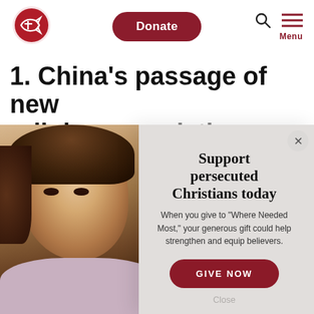[Figure (screenshot): Website navigation bar with Open Doors logo (red fish/cross icon), a red Donate button, search icon, hamburger menu icon, and Menu label in red]
1. China's passage of new religious regulations
[Figure (photo): Photo of a young girl with brown hair and dark eyes looking at the camera, wearing a light pink turtleneck]
[Figure (screenshot): Modal popup with close X button, title 'Support persecuted Christians today', body text 'When you give to "Where Needed Most," your generous gift could help strengthen and equip believers.', a red GIVE NOW button, and a Close text link]